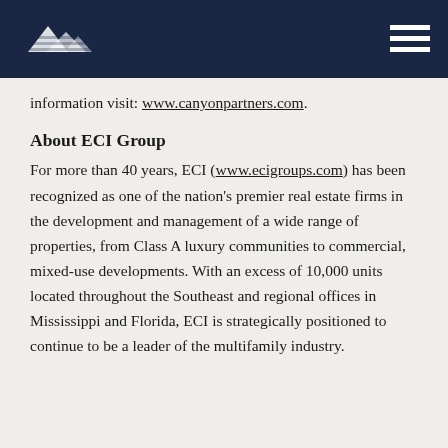[Canyon Partners logo] [Navigation menu icon]
information visit: www.canyonpartners.com.
About ECI Group
For more than 40 years, ECI (www.ecigroups.com) has been recognized as one of the nation's premier real estate firms in the development and management of a wide range of properties, from Class A luxury communities to commercial, mixed-use developments. With an excess of 10,000 units located throughout the Southeast and regional offices in Mississippi and Florida, ECI is strategically positioned to continue to be a leader of the multifamily industry.